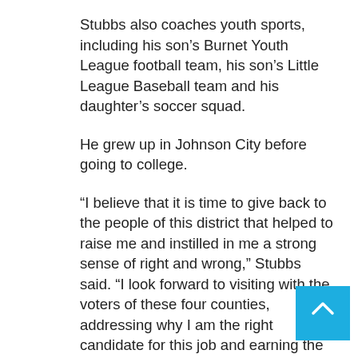Stubbs also coaches youth sports, including his son’s Burnet Youth League football team, his son’s Little League Baseball team and his daughter’s soccer squad.
He grew up in Johnson City before going to college.
“I believe that it is time to give back to the people of this district that helped to raise me and instilled in me a strong sense of right and wrong,” Stubbs said. “I look forward to visiting with the voters of these four counties, addressing why I am the right candidate for this job and earning the support of those that do not already know me.”
Stubbs and his wife Terri live in northern Bur… County where they raise their three children: 9-